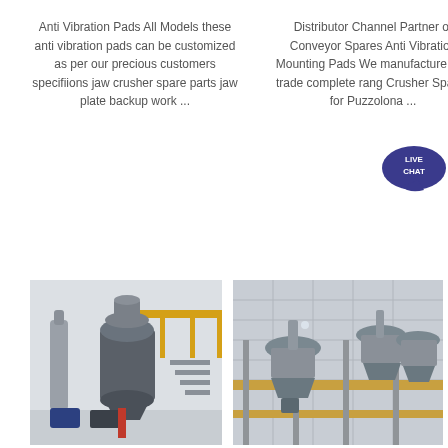Anti Vibration Pads All Models these anti vibration pads can be customized as per our precious customers specifiions jaw crusher spare parts jaw plate backup work ...
Distributor Channel Partner of Conveyor Spares Anti Vibration Mounting Pads We manufacture and trade complete range Crusher Spares for Puzzolona ...
[Figure (photo): Industrial grinding mill inside a factory building with white walls, metal staircases, and yellow railings. Large vertical mill with exhaust ducts visible.]
[Figure (photo): Industrial cone crushers or separators mounted on scaffolding/platform structure against a concrete wall exterior.]